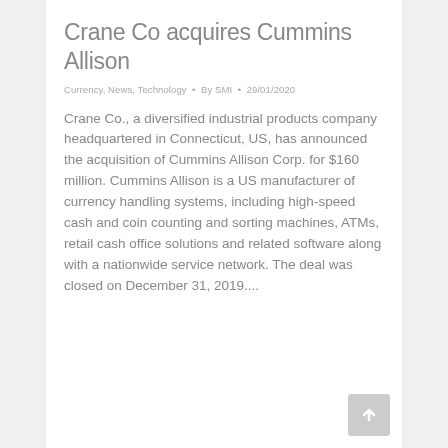Crane Co acquires Cummins Allison
Currency, News, Technology • By SMI • 29/01/2020
Crane Co., a diversified industrial products company headquartered in Connecticut, US, has announced the acquisition of Cummins Allison Corp. for $160 million. Cummins Allison is a US manufacturer of currency handling systems, including high-speed cash and coin counting and sorting machines, ATMs, retail cash office solutions and related software along with a nationwide service network. The deal was closed on December 31, 2019....